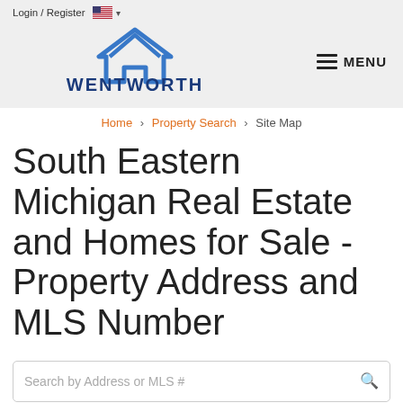Login / Register  🇺🇸 ▾
[Figure (logo): Wentworth Real Estate Group logo with blue house/chevron icon above the text WENTWORTH REAL ESTATE GROUP]
≡ MENU
Home > Property Search > Site Map
South Eastern Michigan Real Estate and Homes for Sale - Property Address and MLS Number
Search by Address or MLS #